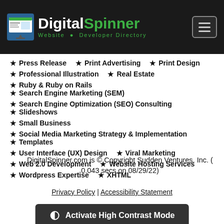[Figure (logo): DigitalSpinner Website Developer Directory logo with dark background header]
★ Press Release  ★ Print Advertising  ★ Print Design
★ Professional Illustration  ★ Real Estate
★ Ruby & Ruby on Rails  ★ Search Engine Marketing (SEM)
★ Search Engine Optimization (SEO) Consulting  ★ Slideshows
★ Small Business
★ Social Media Marketing Strategy & Implementation  ★ Templates
★ User Interface (UX) Design  ★ Viral Marketing
★ Web 2.0 Development  ★ Website Hosting Services
★ Wordpress Expertise  ★ XHTML
DigitalSpinner.com is © Copyright Sudden Ventures, Inc. (0.043 secs on 08/29/22)
Privacy Policy | Accessibility Statement